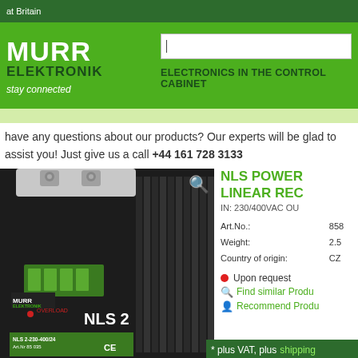at Britain
[Figure (logo): Murr Elektronik logo with 'stay connected' tagline and green header with search box and 'ELECTRONICS IN THE CONTROL CABINET' navigation label]
have any questions about our products? Our experts will be glad to assist you! Just give us a call +44 161 728 3133
[Figure (photo): NLS 2 power supply unit by Murr Elektronik, black device with green terminal block, DIN rail mount, labeled NLS 2-230-400/24, Art.Nr 85 035, CE marked]
NLS POWER LINEAR REC
IN: 230/400VAC OU
| Art.No.: | 858 |
| Weight: | 2.5 |
| Country of origin: | CZ |
Upon request
Find similar Produ
Recommend Produ
* plus VAT, plus shipping